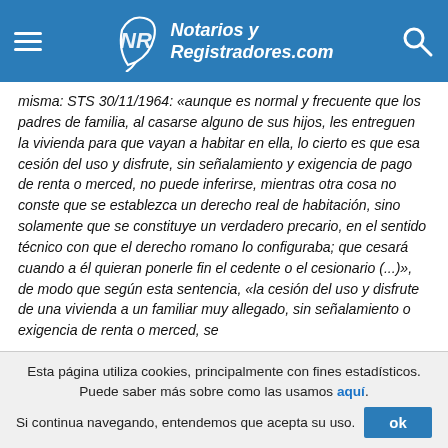Notarios y Registradores.com
misma: STS 30/11/1964: «aunque es normal y frecuente que los padres de familia, al casarse alguno de sus hijos, les entreguen la vivienda para que vayan a habitar en ella, lo cierto es que esa cesión del uso y disfrute, sin señalamiento y exigencia de pago de renta o merced, no puede inferirse, mientras otra cosa no conste que se establezca un derecho real de habitación, sino solamente que se constituye un verdadero precario, en el sentido técnico con que el derecho romano lo configuraba; que cesará cuando a él quieran ponerle fin el cedente o el cesionario (...)», de modo que según esta sentencia, «la cesión del uso y disfrute de una vivienda a un familiar muy allegado, sin señalamiento o exigencia de renta o merced, se
Esta página utiliza cookies, principalmente con fines estadísticos. Puede saber más sobre como las usamos aquí. Si continua navegando, entendemos que acepta su uso.